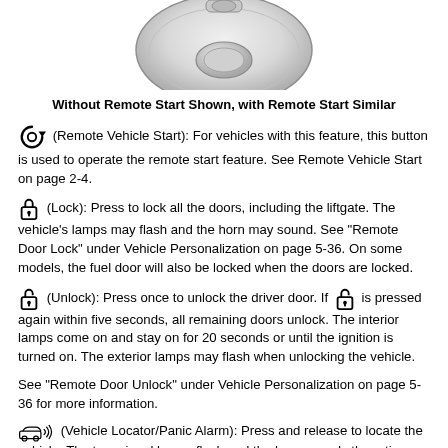[Figure (illustration): Bottom portion of a car key fob remote control showing buttons, grayscale illustration]
Without Remote Start Shown, with Remote Start Similar
(Remote Vehicle Start): For vehicles with this feature, this button is used to operate the remote start feature. See Remote Vehicle Start on page 2-4.
(Lock): Press to lock all the doors, including the liftgate. The vehicle's lamps may flash and the horn may sound. See "Remote Door Lock" under Vehicle Personalization on page 5-36. On some models, the fuel door will also be locked when the doors are locked.
(Unlock): Press once to unlock the driver door. If [unlock icon] is pressed again within five seconds, all remaining doors unlock. The interior lamps come on and stay on for 20 seconds or until the ignition is turned on. The exterior lamps may flash when unlocking the vehicle.
See "Remote Door Unlock" under Vehicle Personalization on page 5-36 for more information.
(Vehicle Locator/Panic Alarm): Press and release to locate the vehicle. The turn signal lamps flash and the horn sounds three times.